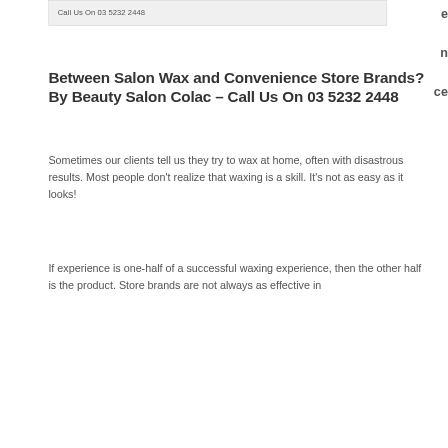Call Us On 03 5232 2448
e
n
ce
Between Salon Wax and Convenience Store Brands? By Beauty Salon Colac – Call Us On 03 5232 2448
Sometimes our clients tell us they try to wax at home, often with disastrous results. Most people don't realize that waxing is a skill. It's not as easy as it looks!
If experience is one-half of a successful waxing experience, then the other half is the product. Store brands are not always as effective in